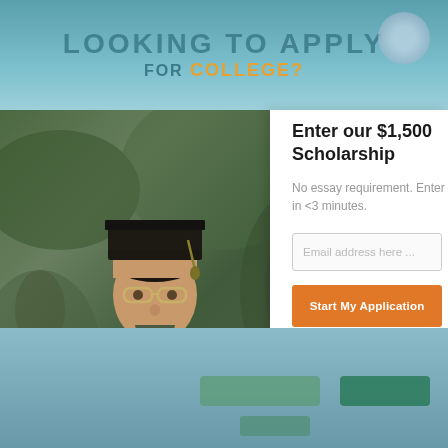[Figure (screenshot): Website screenshot showing a scholarship application page. Top banner with 'LOOKING TO APPLY FOR COLLEGE?' text. Left side shows a graduate student photo. Right side shows a white modal card.]
Enter our $1,500 Scholarship
No essay requirement. Enter in <3 minutes.
Email address here ...
Start My Application